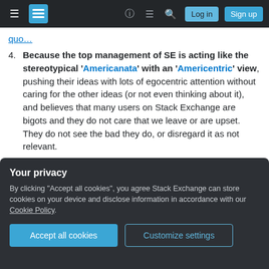Stack Exchange navigation bar with Log in and Sign up buttons
quo…
4. Because the top management of SE is acting like the stereotypical 'Americanata' with an 'Americentric' view, pushing their ideas with lots of egocentric attention without caring for the other ideas (or not even thinking about it), and believes that many users on Stack Exchange are bigots and they do not care that we leave or are upset. They do not see the bad they do, or disregard it as not relevant.
Your privacy
By clicking "Accept all cookies", you agree Stack Exchange can store cookies on your device and disclose information in accordance with our Cookie Policy.
Accept all cookies   Customize settings
5. Because of an 'us versus them mentality'